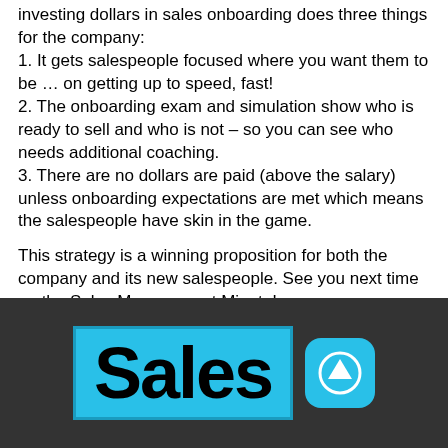investing dollars in sales onboarding does three things for the company:
1. It gets salespeople focused where you want them to be … on getting up to speed, fast!
2. The onboarding exam and simulation show who is ready to sell and who is not – so you can see who needs additional coaching.
3. There are no dollars are paid (above the salary) unless onboarding expectations are met which means the salespeople have skin in the game.
This strategy is a winning proposition for both the company and its new salespeople. See you next time on the Sales Management Minute!
[Figure (logo): Sales Management Minute logo: cyan/blue background with bold black 'Sales' text, alongside a cyan rounded square button with a white upward arrow icon, on a dark grey background]